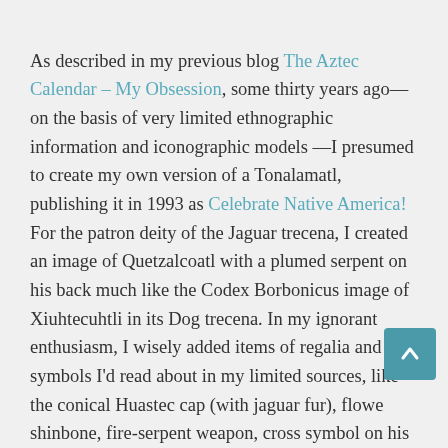As described in my previous blog The Aztec Calendar – My Obsession, some thirty years ago—on the basis of very limited ethnographic information and iconographic models —I presumed to create my own version of a Tonalamatl, publishing it in 1993 as Celebrate Native America! For the patron deity of the Jaguar trecena, I created an image of Quetzalcoatl with a plumed serpent on his back much like the Codex Borbonicus image of Xiuhtecuhtli in its Dog trecena. In my ignorant enthusiasm, I wisely added items of regalia and symbols I'd read about in my limited sources, like the conical Huastec cap (with jaguar fur), flower shinbone, fire-serpent weapon, cross symbol on his shield, golden beard, and others. In consequence, he wound up looking remarkably authentic in terms